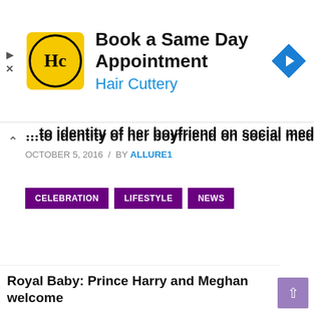[Figure (other): Hair Cuttery advertisement banner: yellow logo with HC initials, text 'Book a Same Day Appointment / Hair Cuttery', blue navigation arrow diamond icon on the right]
…to identity of her boyfriend on social media
OCTOBER 5, 2016 / BY ALLURE1
CELEBRATION
LIFESTYLE
NEWS
Royal Baby: Prince Harry and Meghan welcome